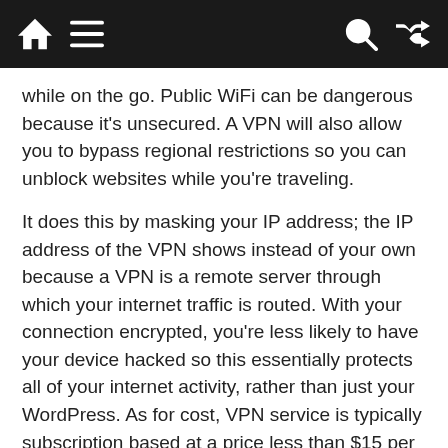[Navigation bar with home, menu, search, and shuffle icons]
while on the go. Public WiFi can be dangerous because it's unsecured. A VPN will also allow you to bypass regional restrictions so you can unblock websites while you're traveling.
It does this by masking your IP address; the IP address of the VPN shows instead of your own because a VPN is a remote server through which your internet traffic is routed. With your connection encrypted, you're less likely to have your device hacked so this essentially protects all of your internet activity, rather than just your WordPress. As for cost, VPN service is typically subscription based at a price less than $15 per month, though free services are available as well.
Various Tips of WordPress